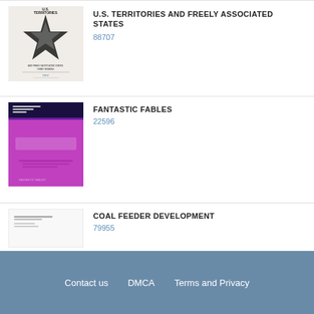[Figure (illustration): Book cover thumbnail for U.S. Territories and Freely Associated States, showing a star graphic on a light background]
U.S. TERRITORIES AND FREELY ASSOCIATED STATES
88707
[Figure (illustration): Book cover thumbnail for Fantastic Fables, purple/magenta cover]
FANTASTIC FABLES
22596
[Figure (illustration): Document thumbnail for Coal Feeder Development, plain white/gray document]
COAL FEEDER DEVELOPMENT
79955
[Figure (illustration): Partial document thumbnail at bottom of page]
Contact us   DMCA   Terms and Privacy